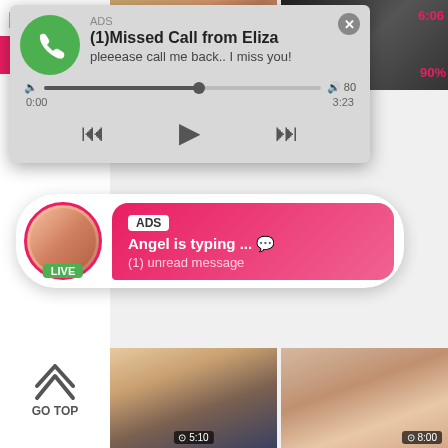[Figure (screenshot): Website sidebar with bbw text in pink, home icon, and tag icon, plus GO TOP arrow at bottom]
[Figure (screenshot): ADS audio player popup showing missed call notification with green phone circle, title '(1)Missed Call from Eliza', subtitle 'pleeease call me back.. I miss you!', audio progress bar with 0:00 and 3:23 timestamps, and playback controls (rewind, play, fast-forward)]
[Figure (screenshot): ADS chat popup with circular avatar marked LIVE and pink message bubble: 'Angel is typing ... (1) unread message']
[Figure (screenshot): Video thumbnail grid showing two rows of video thumbnails with duration badges (6:06, 90%, 5:10, 8:00) and view counts (503 views, 648 views)]